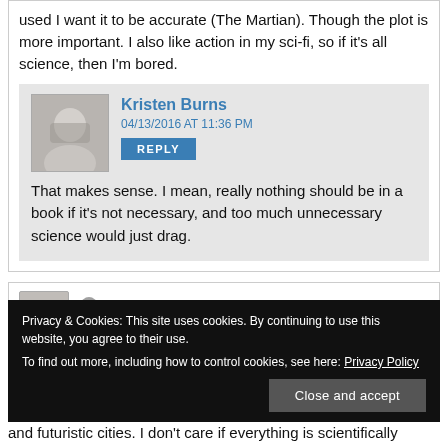used I want it to be accurate (The Martian). Though the plot is more important. I also like action in my sci-fi, so if it's all science, then I'm bored.
Kristen Burns
04/13/2016 AT 11:36 PM
REPLY
That makes sense. I mean, really nothing should be in a book if it's not necessary, and too much unnecessary science would just drag.
Privacy & Cookies: This site uses cookies. By continuing to use this website, you agree to their use.
To find out more, including how to control cookies, see here: Privacy Policy
Close and accept
and futuristic cities. I don't care if everything is scientifically